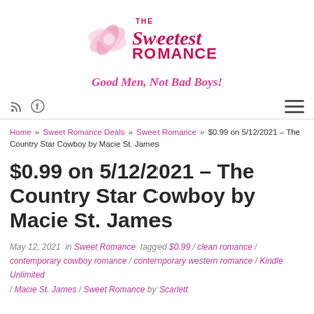[Figure (logo): The Sweetest Romance logo with pink flower and stylized text]
Good Men, Not Bad Boys!
RSS feed, Facebook icons and hamburger menu
Home » Sweet Romance Deals » Sweet Romance » $0.99 on 5/12/2021 – The Country Star Cowboy by Macie St. James
$0.99 on 5/12/2021 – The Country Star Cowboy by Macie St. James
May 12, 2021 in Sweet Romance tagged $0.99 / clean romance / contemporary cowboy romance / contemporary western romance / Kindle Unlimited / Macie St. James / Sweet Romance by Scarlett